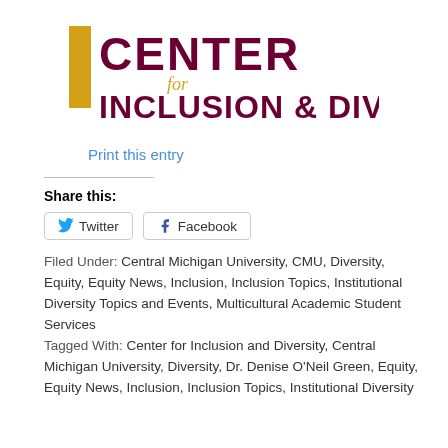[Figure (logo): Center for Inclusion & Diversity logo with gold vertical bar and maroon text]
Print this entry
Share this:
Twitter  Facebook
Filed Under: Central Michigan University, CMU, Diversity, Equity, Equity News, Inclusion, Inclusion Topics, Institutional Diversity Topics and Events, Multicultural Academic Student Services Tagged With: Center for Inclusion and Diversity, Central Michigan University, Diversity, Dr. Denise O'Neil Green, Equity, Equity News, Inclusion, Inclusion Topics, Institutional Diversity